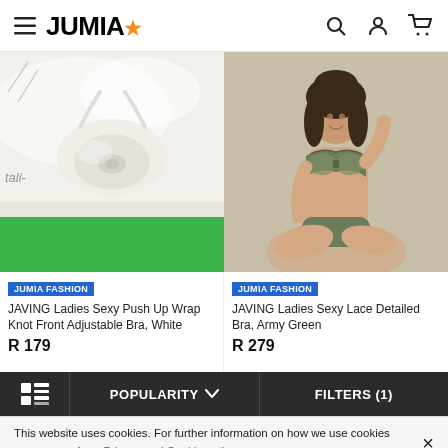JUMIA (navigation header with search, account, cart icons)
[Figure (photo): Product photo of a white wrap knot front adjustable bra on a fluffy white surface with green background at bottom]
JUMIA FASHION
JAVING Ladies Sexy Push Up Wrap Knot Front Adjustable Bra, White
R 179
[Figure (photo): Product photo of a woman wearing an army green lace detailed bra and underwear set, sitting cross-legged]
JUMIA FASHION
JAVING Ladies Sexy Lace Detailed Bra, Army Green
R 279
POPULARITY ▾   FILTERS (1)
This website uses cookies. For further information on how we use cookies you can read our Privacy and Cookie notice